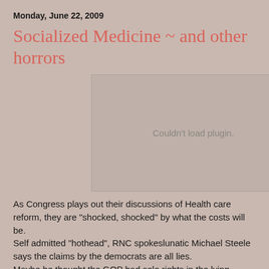Monday, June 22, 2009
Socialized Medicine ~ and other horrors
[Figure (other): Embedded plugin area showing 'Couldn't load plugin.' error message]
As Congress plays out their discussions of Health care reform, they are "shocked, shocked" by what the costs will be.
Self admitted "hothead", RNC spokeslunatic Michael Steele says the claims by the democrats are all lies.
Maybe he thought the GOP had solo rights in the lying...